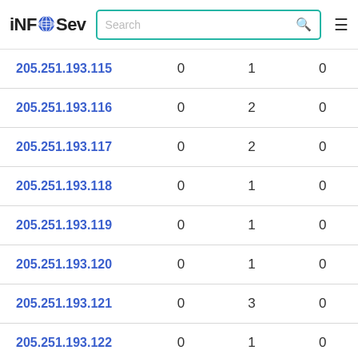iNFOSev [search bar] [hamburger menu]
| IP Address | Col1 | Col2 | Col3 |
| --- | --- | --- | --- |
| 205.251.193.115 | 0 | 1 | 0 |
| 205.251.193.116 | 0 | 2 | 0 |
| 205.251.193.117 | 0 | 2 | 0 |
| 205.251.193.118 | 0 | 1 | 0 |
| 205.251.193.119 | 0 | 1 | 0 |
| 205.251.193.120 | 0 | 1 | 0 |
| 205.251.193.121 | 0 | 3 | 0 |
| 205.251.193.122 | 0 | 1 | 0 |
| 205.251.193.123 | 0 | 2 | 0 |
| 205.251.193.124 | 0 | 3 | 0 |